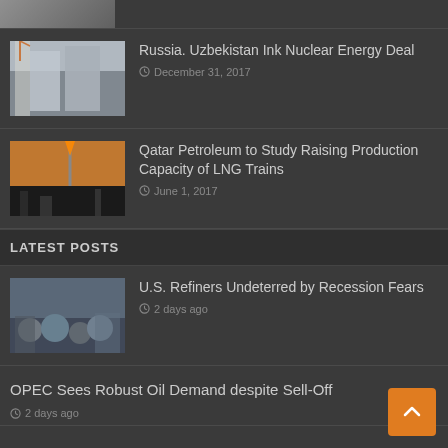[Figure (photo): Partial news item image at top (cropped)]
Russia. Uzbekistan Ink Nuclear Energy Deal
December 31, 2017
[Figure (photo): Oil flare and pump jack silhouette at sunset]
Qatar Petroleum to Study Raising Production Capacity of LNG Trains
June 1, 2017
LATEST POSTS
[Figure (photo): Aerial view of oil refinery tanks]
U.S. Refiners Undeterred by Recession Fears
2 days ago
OPEC Sees Robust Oil Demand despite Sell-Off
2 days ago
U.S. Oil and Gas Firms Made $74 Billion in Profits Last Year
3 days ago